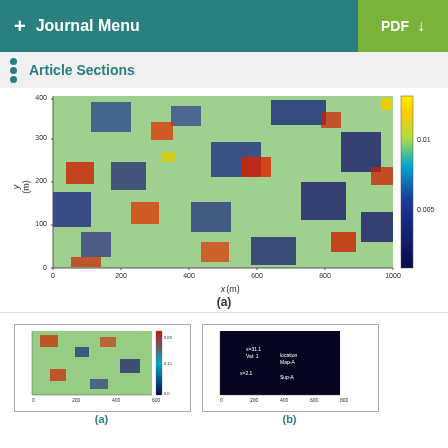+ Journal Menu   PDF ↓
Article Sections
[Figure (continuous-plot): 2D spatial plot (heatmap) showing field values over a domain. X-axis: x (m), range 0–1000. Y-axis: y (m), range 0–400. Color scale from dark blue (~0.000) to yellow (~0.01), passing through cyan, green, yellow-green, orange, red. The field shows complex spatial patterns of high and low values. Colorbar on right shows 0.005 at bottom and 0.01 near top. Label (a) below.]
(a)
[Figure (continuous-plot): Thumbnail version of a similar heatmap, labeled (a). Small axes, color scale visible on right.]
[Figure (continuous-plot): Thumbnail of a dark blue plot with scattered text annotations, labeled (b). Appears to show a scatter or point distribution on dark background with white labels.]
(a)
(b)